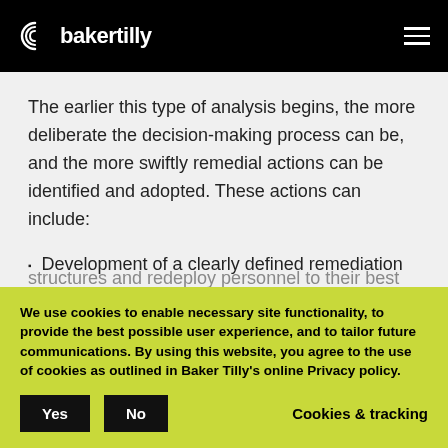bakertilly
The earlier this type of analysis begins, the more deliberate the decision-making process can be, and the more swiftly remedial actions can be identified and adopted. These actions can include:
Development of a clearly defined remediation
We use cookies to enable necessary site functionality, to provide the best possible user experience, and to tailor future communications. By using this website, you agree to the use of cookies as outlined in Baker Tilly's online Privacy policy.
structures and redeploy personnel to their best